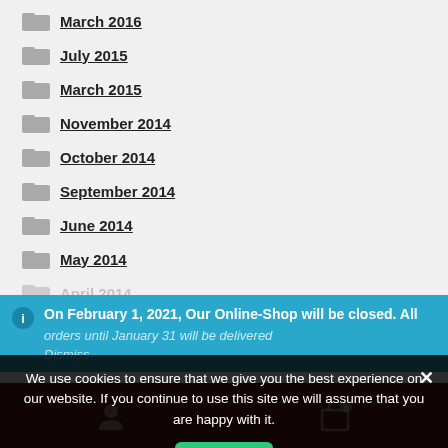March 2016
July 2015
March 2015
November 2014
October 2014
September 2014
June 2014
May 2014
April 2014
On February 1, 2021, Our Online-Shop will be closed. All orders until January 31 will be delivered
Dismiss
We use cookies to ensure that we give you the best experience on our website. If you continue to use this site we will assume that you are happy with it.
Ok